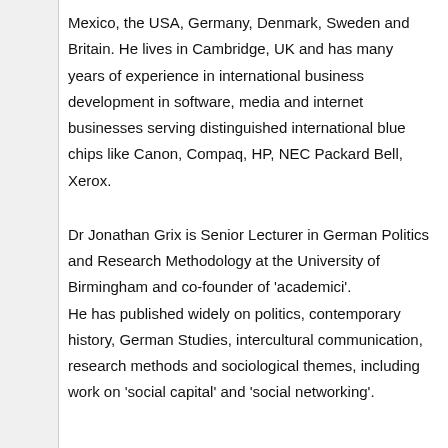Mexico, the USA, Germany, Denmark, Sweden and Britain. He lives in Cambridge, UK and has many years of experience in international business development in software, media and internet businesses serving distinguished international blue chips like Canon, Compaq, HP, NEC Packard Bell, Xerox.
Dr Jonathan Grix is Senior Lecturer in German Politics and Research Methodology at the University of Birmingham and co-founder of 'academici'. He has published widely on politics, contemporary history, German Studies, intercultural communication, research methods and sociological themes, including work on 'social capital' and 'social networking'.